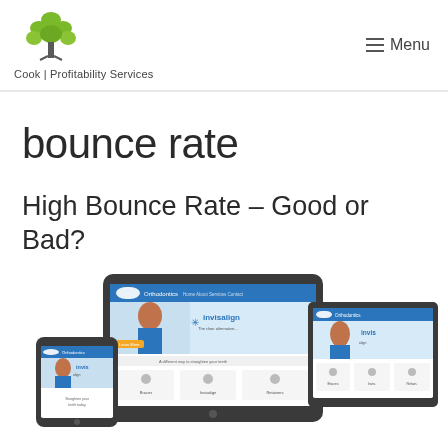Cook Profitability Services | Menu
bounce rate
High Bounce Rate – Good or Bad?
[Figure (screenshot): Screenshot of an orthodontics website displayed on tablet, mobile phone, and desktop/laptop mockup devices showing the site with Invisalign branding and navigation.]